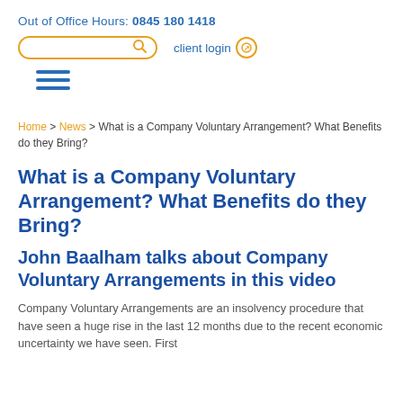Out of Office Hours: 0845 180 1418
What is a Company Voluntary Arrangement? What Benefits do they Bring?
John Baalham talks about Company Voluntary Arrangements in this video
Company Voluntary Arrangements are an insolvency procedure that have seen a huge rise in the last 12 months due to the recent economic uncertainty we have seen. First